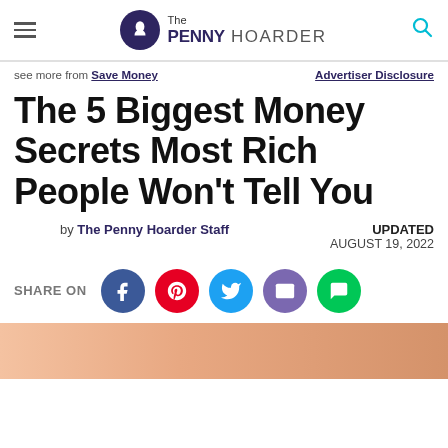The Penny Hoarder
see more from Save Money   Advertiser Disclosure
The 5 Biggest Money Secrets Most Rich People Won't Tell You
by The Penny Hoarder Staff   UPDATED AUGUST 19, 2022
SHARE ON
[Figure (photo): Partial bottom image, skin-toned background cropped at bottom of page]